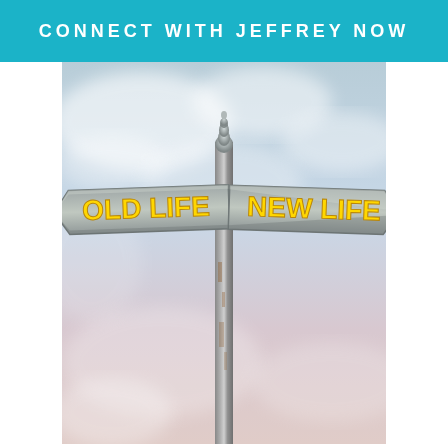CONNECT WITH JEFFREY NOW
[Figure (photo): A street sign post with two directional signs pointing left and right. The left sign reads 'OLD LIFE' and the right sign reads 'NEW LIFE', both with yellow text on a weathered gray metal sign. The background is a soft cloudy sky with pink and blue tones.]